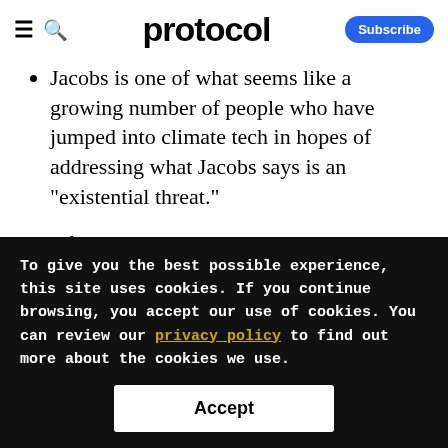protocol
Jacobs is one of what seems like a growing number of people who have jumped into climate tech in hopes of addressing what Jacobs says is an "existential threat."
After selling his startup Runkeeper to Asics in 2016, Jacobs got into climate
To give you the best possible experience, this site uses cookies. If you continue browsing, you accept our use of cookies. You can review our privacy policy to find out more about the cookies we use.
Accept